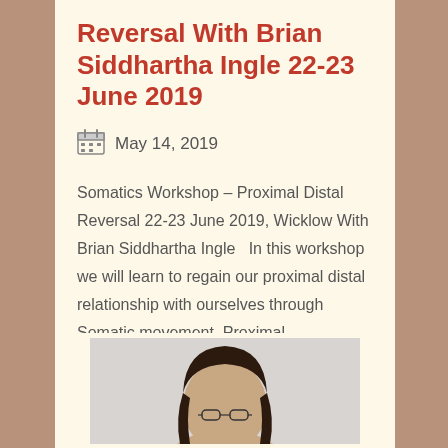Reversal With Brian Siddhartha Ingle 22-23 June 2019
May 14, 2019
Somatics Workshop – Proximal Distal Reversal 22-23 June 2019, Wicklow With Brian Siddhartha Ingle   In this workshop we will learn to regain our proximal distal relationship with ourselves through Somatic movement. Proximal...
[Figure (photo): Portrait photo of a woman with dark hair and glasses]